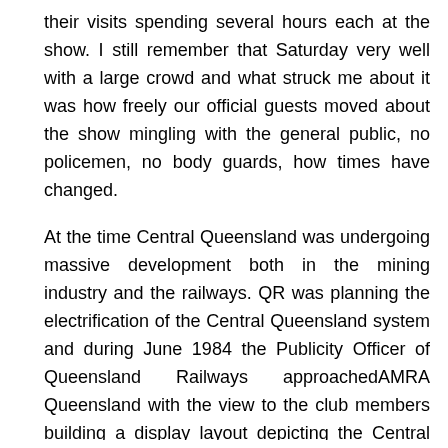their visits spending several hours each at the show. I still remember that Saturday very well with a large crowd and what struck me about it was how freely our official guests moved about the show mingling with the general public, no policemen, no body guards, how times have changed.
At the time Central Queensland was undergoing massive development both in the mining industry and the railways. QR was planning the electrification of the Central Queensland system and during June 1984 the Publicity Officer of Queensland Railways approachedAMRA Queensland with the view to the club members building a display layout depicting the Central Queensland coal lines and the electrification of those lines.
After several meetings with QR officials one of our members John Hill built a small concept layout and presented it to QR for consideration. To say the QR officials were impressed would be an understatement and